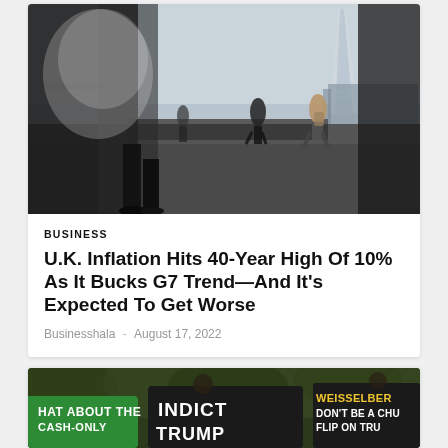[Figure (photo): Street scene photo showing pedestrians walking in an urban area, with The Shard skyscraper visible in the background in London. Motion blur on foreground figures, runners and pedestrians in background.]
BUSINESS
U.K. Inflation Hits 40-Year High Of 10% As It Bucks G7 Trend—And It's Expected To Get Worse
Businesshala - August 17, 2022
[Figure (photo): Protest scene showing people holding signs including 'INDICT TRUMP' (black sign), a green sign reading 'HAT ABOUT THE CASH-ONLY' and a partial sign reading 'WEISSELBER DON'T BE A CHU FLIP ON TRU'.]